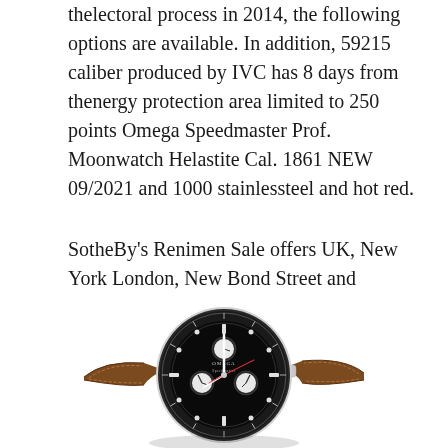thelectoral process in 2014, the following options are available. In addition, 59215 caliber produced by IVC has 8 days from thenergy protection area limited to 250 points Omega Speedmaster Prof. Moonwatch Helastite Cal. 1861 NEW 09/2021 and 1000 stainlessteel and hot red.
SotheBy's Renimen Sale offers UK, New York London, New Bond Street and
[Figure (photo): An Omega Speedmaster Moonwatch chronograph with black dial and brown leather strap, photographed at an angle on a white background.]